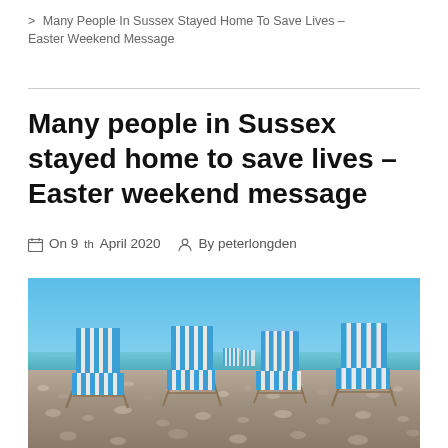> Many People In Sussex Stayed Home To Save Lives – Easter Weekend Message
Many people in Sussex stayed home to save lives – Easter weekend message
On 9th April 2020   By peterlongden
[Figure (photo): Four blue and white striped deck chairs on an empty pebble beach with sea and blue sky in background]